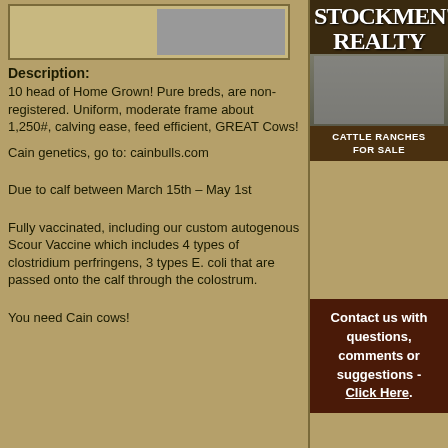[Figure (photo): Photo of cattle, partial view at top of left column]
Description:
10 head of Home Grown! Pure breds, are non-registered. Uniform, moderate frame about 1,250#, calving ease, feed efficient, GREAT Cows!
Cain genetics, go to: cainbulls.com
Due to calf between March 15th – May 1st
Fully vaccinated, including our custom autogenous Scour Vaccine which includes 4 types of clostridium perfringens, 3 types E. coli that are passed onto the calf through the colostrum.
You need Cain cows!
[Figure (logo): Stockmen's Realty advertisement with cattle ranches for sale logo]
Contact us with questions, comments or suggestions - Click Here.